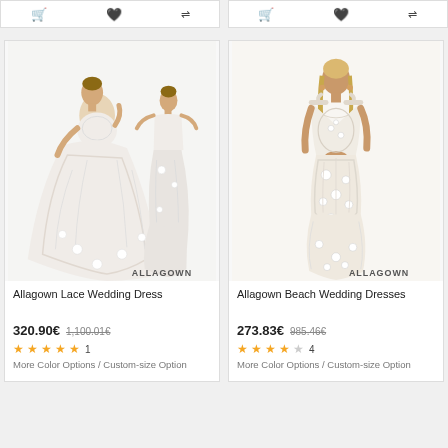[Figure (screenshot): Top toolbar strip with cart, heart, and filter icons for two product columns]
[Figure (photo): Allagown lace wedding dress product photo showing two poses - one in a large ball gown style and one in a mermaid style, with ALLAGOWN watermark]
Allagown Lace Wedding Dress
320.90€  1,100.01€
★★★★★ 1
More Color Options / Custom-size Option
[Figure (photo): Allagown beach wedding dress product photo showing a woman in a fitted mermaid lace gown, with ALLAGOWN watermark]
Allagown Beach Wedding Dresses
273.83€  985.46€
★★★★☆ 4
More Color Options / Custom-size Option